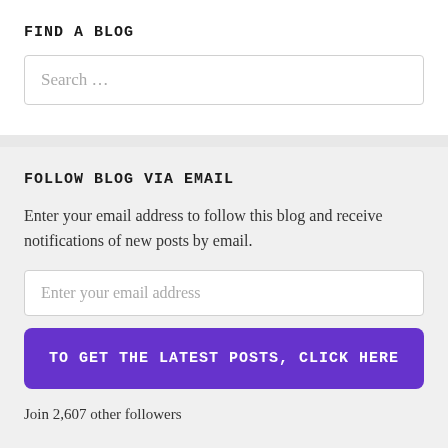FIND A BLOG
Search …
FOLLOW BLOG VIA EMAIL
Enter your email address to follow this blog and receive notifications of new posts by email.
Enter your email address
TO GET THE LATEST POSTS, CLICK HERE
Join 2,607 other followers